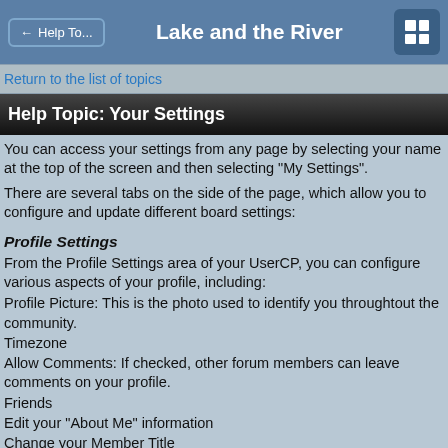← Help To...   Lake and the River
Return to the list of topics
Help Topic: Your Settings
You can access your settings from any page by selecting your name at the top of the screen and then selecting "My Settings".
There are several tabs on the side of the page, which allow you to configure and update different board settings:
Profile Settings
From the Profile Settings area of your UserCP, you can configure various aspects of your profile, including:
Profile Picture: This is the photo used to identify you throughtout the community.
Timezone
Allow Comments: If checked, other forum members can leave comments on your profile.
Friends
Edit your "About Me" information
Change your Member Title
Update your Birthday
Add profile information, such as interests
Share contact information such as AIM usernames.
Profile Customization